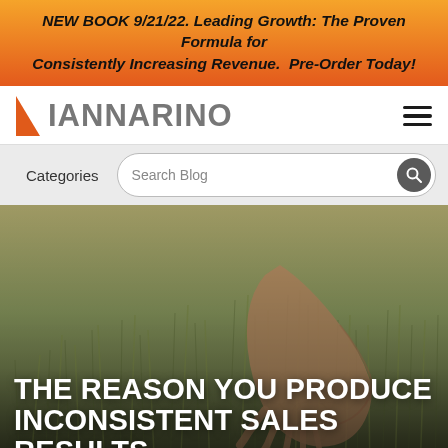NEW BOOK 9/21/22. Leading Growth: The Proven Formula for Consistently Increasing Revenue. Pre-Order Today!
[Figure (logo): Iannarino logo with orange triangle and grey text]
Categories
Search Blog
[Figure (photo): A hand reaching through tall grass in a field, warm golden tones]
THE REASON YOU PRODUCE INCONSISTENT SALES RESULTS